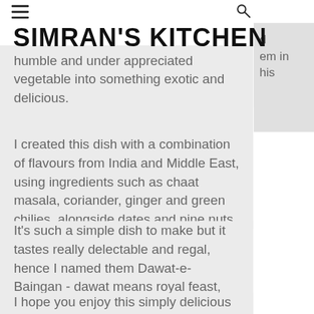SIMRAN'S KITCHEN
humble and under appreciated vegetable into something exotic and delicious.
I created this dish with a combination of flavours from India and Middle East, using ingredients such as chaat masala, coriander, ginger and green chilies, alongside dates and pine nuts.
It's such a simple dish to make but it tastes really delectable and regal, hence I named them Dawat-e-Baingan - dawat means royal feast, and baingan means eggplant!
I hope you enjoy this simply delicious recipe.